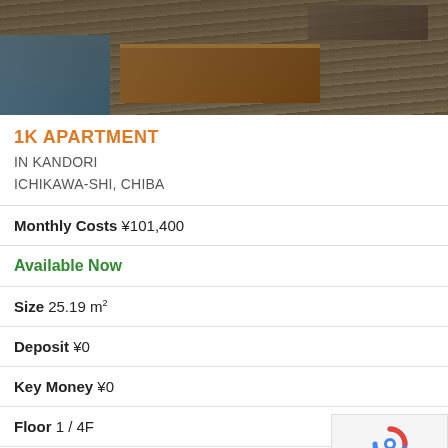[Figure (photo): Interior photo of an apartment showing a wooden table, sofa, and hardwood/stripe flooring from an elevated angle]
1K APARTMENT
IN KANDORI
ICHIKAWA-SHI, CHIBA
Monthly Costs ¥101,400
Available Now
Size 25.19 m²
Deposit ¥0
Key Money ¥0
Floor 1 / 4F
Year Built 1993